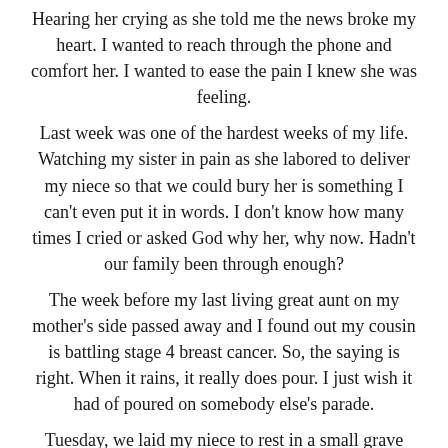Hearing her crying as she told me the news broke my heart. I wanted to reach through the phone and comfort her. I wanted to ease the pain I knew she was feeling.

Last week was one of the hardest weeks of my life. Watching my sister in pain as she labored to deliver my niece so that we could bury her is something I can't even put it in words. I don't know how many times I cried or asked God why her, why now. Hadn't our family been through enough?

The week before my last living great aunt on my mother's side passed away and I found out my cousin is battling stage 4 breast cancer. So, the saying is right. When it rains, it really does pour. I just wish it had of poured on somebody else's parade.

Tuesday, we laid my niece to rest in a small grave side ceremony back home. All I could do was pray and comfort my sister and her husband as they watched their baby girl being lowered into the ground and